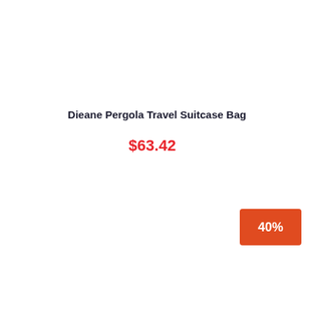Dieane Pergola Travel Suitcase Bag
$63.42
40%